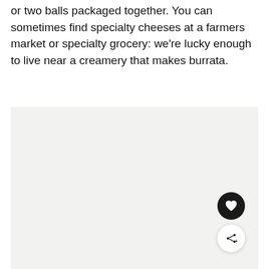or two balls packaged together. You can sometimes find specialty cheeses at a farmers market or specialty grocery: we're lucky enough to live near a creamery that makes burrata.
[Figure (photo): A large light gray/beige placeholder image block occupying the lower portion of the page, with a heart (favorite) button in dark circle and a share button in white circle overlaid at the bottom-right corner.]